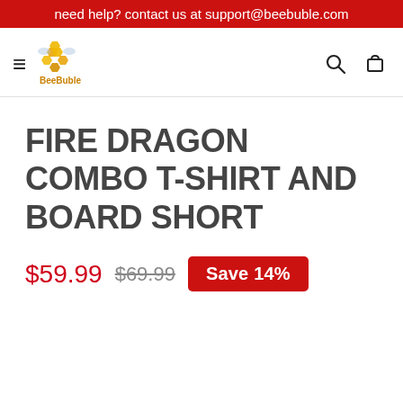need help? contact us at support@beebuble.com
[Figure (logo): BeeBuble bee logo with hexagonal bee icon and 'BeeBuble' text below in orange/gold color]
FIRE DRAGON COMBO T-SHIRT AND BOARD SHORT
$59.99 $69.99 Save 14%